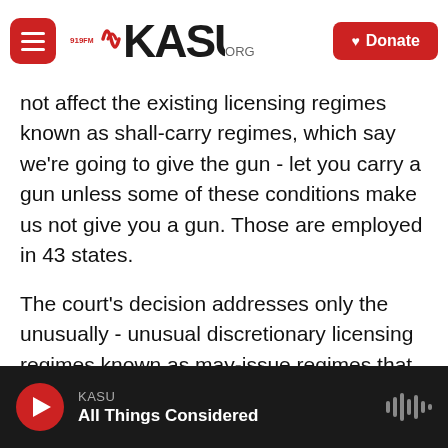919FM KASU.ORG — Donate
not affect the existing licensing regimes known as shall-carry regimes, which say we're going to give the gun - let you carry a gun unless some of these conditions make us not give you a gun. Those are employed in 43 states.
The court's decision addresses only the unusually - unusual discretionary licensing regimes known as may-issue regimes that are employed by New York and California, New Jersey, Hawaii, Maryland, Massachusetts and Washington, D.C. And he said that New York's outlier may-issue regime is constitutionally problematic because it grants
KASU — All Things Considered